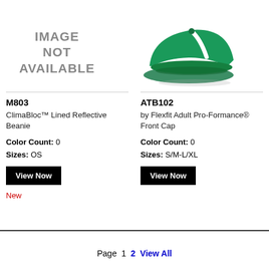[Figure (illustration): IMAGE NOT AVAILABLE placeholder text for product M803]
[Figure (photo): Green baseball cap with white stripe - ATB102 product photo by Flexfit]
M803
ClimaBloc™ Lined Reflective Beanie
Color Count: 0
Sizes: OS
View Now
New
ATB102
by Flexfit Adult Pro-Formance® Front Cap
Color Count: 0
Sizes: S/M-L/XL
View Now
Page 1 2 View All